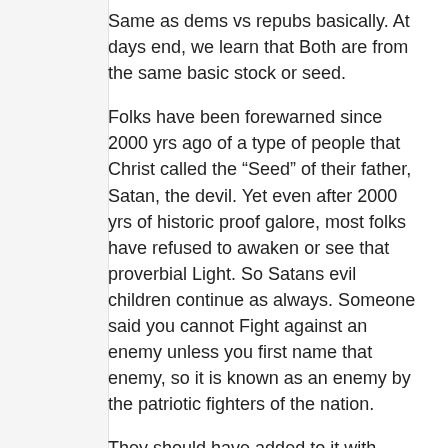Same as dems vs repubs basically. At days end, we learn that Both are from the same basic stock or seed.
Folks have been forewarned since 2000 yrs ago of a type of people that Christ called the “Seed” of their father, Satan, the devil. Yet even after 2000 yrs of historic proof galore, most folks have refused to awaken or see that proverbial Light. So Satans evil children continue as always. Someone said you cannot Fight against an enemy unless you first name that enemy, so it is known as an enemy by the patriotic fighters of the nation.
They should have added to it with “Untill folks stop refuseing sound advice, from Christ Himself, never will enough name an enemy so as to actually deal with and Halt it”. And Satans Off spring seeds keep